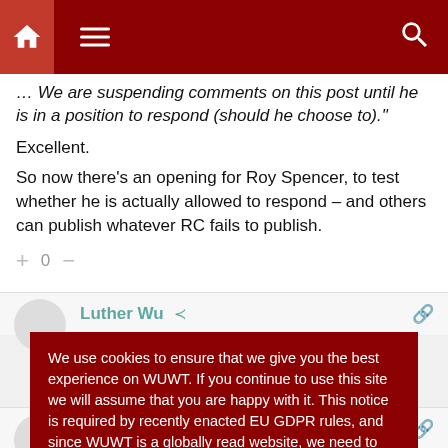[Figure (screenshot): Website navigation bar with dark red background, home icon, hamburger menu, and search icon]
"... We are suspending comments on this post until he is in a position to respond (should he choose to)."
Excellent.
So now there's an opening for Roy Spencer, to test whether he is actually allowed to respond – and others can publish whatever RC fails to publish.
+ 0 –
Luther Wu
We use cookies to ensure that we give you the best experience on WUWT. If you continue to use this site we will assume that you are happy with it. This notice is required by recently enacted EU GDPR rules, and since WUWT is a globally read website, we need to keep the bureaucrats off our case! Cookie Policy
Close and accept
Dave Springer